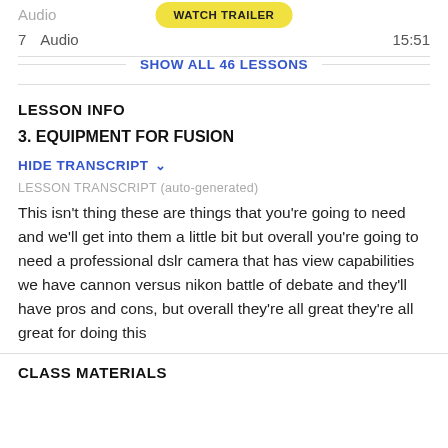Audio
WATCH TRAILER
7   Audio   15:51
SHOW ALL 46 LESSONS
LESSON INFO
3. EQUIPMENT FOR FUSION
HIDE TRANSCRIPT ∨
LESSON TRANSCRIPT (auto-generated)
This isn't thing these are things that you're going to need and we'll get into them a little bit but overall you're going to need a professional dslr camera that has view capabilities we have cannon versus nikon battle of debate and they'll have pros and cons, but overall they're all great they're all great for doing this
CLASS MATERIALS